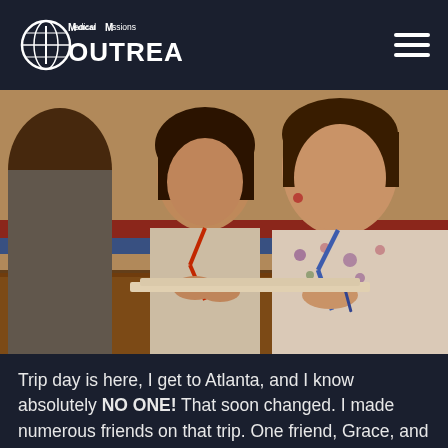Medical Missions Outreach
[Figure (photo): Two women sitting at a table during a medical mission consultation. One woman on the right wearing a floral top and blue lanyard appears to be a medical volunteer speaking with a younger local woman wearing a red lanyard. A third person is partially visible on the left from behind.]
Trip day is here, I get to Atlanta, and I know absolutely NO ONE! That soon changed. I made numerous friends on that trip. One friend, Grace, and I decided to go back to Honduras in August that next year. I then